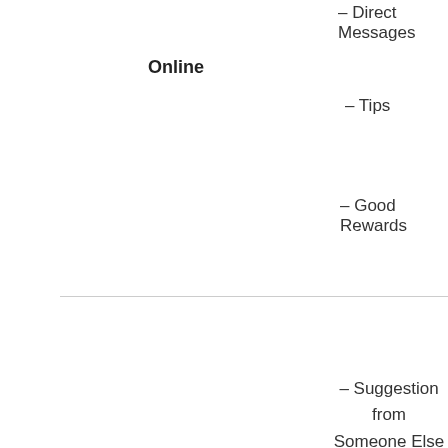– Direct Messages
– 10 Pass
Online
– Tips
– For En
– Good Rewards
Land-Based
– Suggestion from Someone Else
– Spon
– Feelir
– It Caught My Eye
– Bein
– Tips
– For En
– Good Rewards